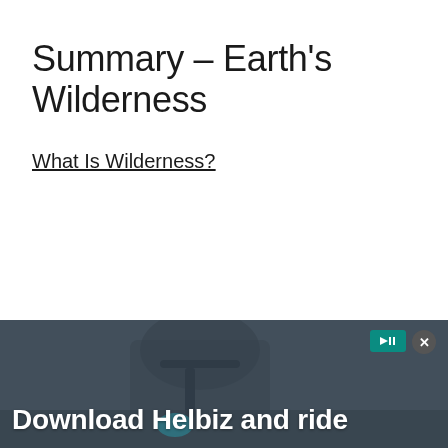Summary – Earth's Wilderness
What Is Wilderness?
[Figure (photo): Advertisement banner showing a person riding an electric scooter in an urban setting, with text 'Download Helbiz and ride'. Contains a close button (X) and an ad badge icon in the top right corner.]